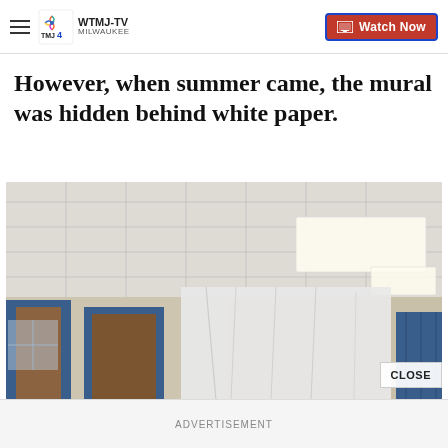WTMJ-TV MILWAUKEE | Watch Now
However, when summer came, the mural was hidden behind white paper.
[Figure (photo): School hallway interior showing a large white paper or plastic sheet covering a wall mural between blue-framed doors, with a drop ceiling above]
CLOSE
ADVERTISEMENT